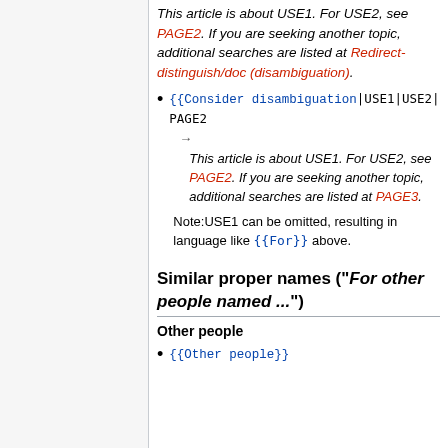This article is about USE1. For USE2, see PAGE2. If you are seeking another topic, additional searches are listed at Redirect-distinguish/doc (disambiguation).
{{Consider disambiguation|USE1|USE2|PAGE2 → This article is about USE1. For USE2, see PAGE2. If you are seeking another topic, additional searches are listed at PAGE3. Note:USE1 can be omitted, resulting in language like {{For}} above.
Similar proper names ("For other people named ...")
Other people
{{Other people}}